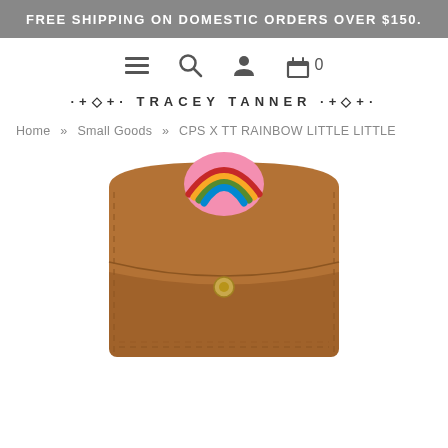FREE SHIPPING ON DOMESTIC ORDERS OVER $150.
[Figure (screenshot): Navigation icons: hamburger menu, search magnifying glass, user account icon, shopping bag with 0]
·+◇+· TRACEY TANNER ·+◇+·
Home » Small Goods » CPS X TT RAINBOW LITTLE LITTLE
[Figure (photo): Brown leather small pouch/wallet with a colorful rainbow enamel pin near the top flap and a gold snap button closure. The rainbow pin has pink, yellow, green, and blue arcs on a pink circular background.]